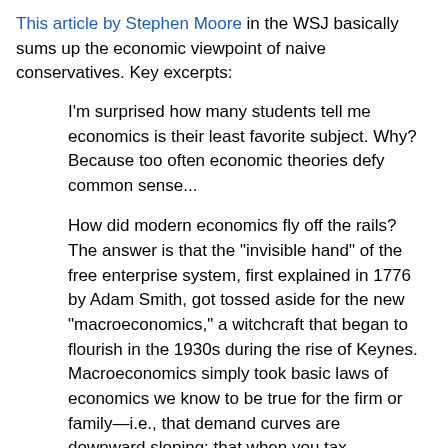This article by Stephen Moore in the WSJ basically sums up the economic viewpoint of naive conservatives. Key excerpts:
I'm surprised how many students tell me economics is their least favorite subject. Why? Because too often economic theories defy common sense...
How did modern economics fly off the rails? The answer is that the "invisible hand" of the free enterprise system, first explained in 1776 by Adam Smith, got tossed aside for the new "macroeconomics," a witchcraft that began to flourish in the 1930s during the rise of Keynes. Macroeconomics simply took basic laws of economics we know to be true for the firm or family—i.e., that demand curves are downward sloping; that when you tax something, you get less of it; that debts have to be repaid—and turned them on their head...